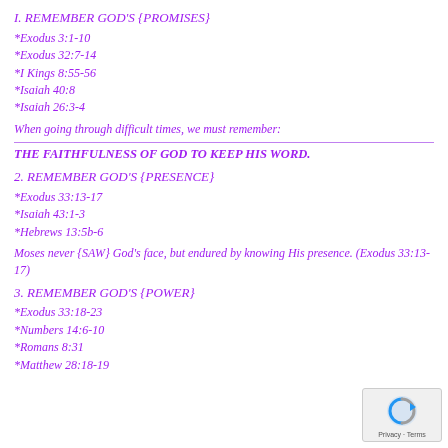I. REMEMBER GOD'S {PROMISES}
*Exodus 3:1-10
*Exodus 32:7-14
*I Kings 8:55-56
*Isaiah 40:8
*Isaiah 26:3-4
When going through difficult times, we must remember:
THE FAITHFULNESS OF GOD TO KEEP HIS WORD.
2. REMEMBER GOD'S {PRESENCE}
*Exodus 33:13-17
*Isaiah 43:1-3
*Hebrews 13:5b-6
Moses never {SAW} God's face, but endured by knowing His presence. (Exodus 33:13-17)
3. REMEMBER GOD'S {POWER}
*Exodus 33:18-23
*Numbers 14:6-10
*Romans 8:31
*Matthew 28:18-19